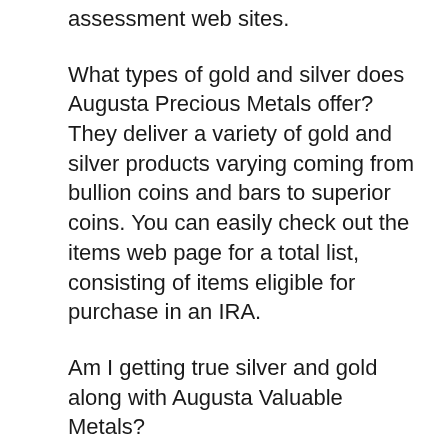assessment web sites.
What types of gold and silver does Augusta Precious Metals offer?
They deliver a variety of gold and silver products varying coming from bullion coins and bars to superior coins. You can easily check out the items web page for a total list, consisting of items eligible for purchase in an IRA.
Am I getting true silver and gold along with Augusta Valuable Metals?
You are purchasing bodily, non-paper gold or silver coins or bars. Augusta does certainly not market gold and silver certifications.